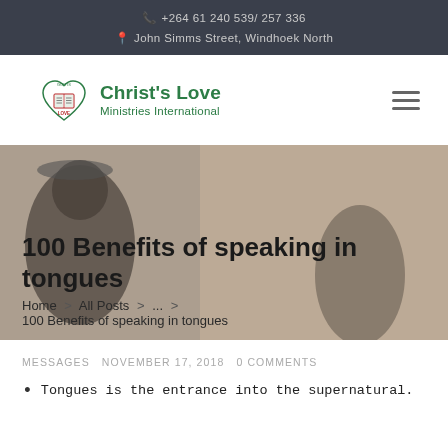📞 +264 61 240 539/ 257 336
📍 John Simms Street, Windhoek North
[Figure (logo): Christ's Love Ministries International logo — heart shape with open book inside, green text]
[Figure (photo): Background photo of people used behind the hero title area]
100 Benefits of speaking in tongues
Home > All Posts > ... > 100 Benefits of speaking in tongues
MESSAGES   NOVEMBER 17, 2018   0 COMMENTS
Tongues is the entrance into the supernatural.